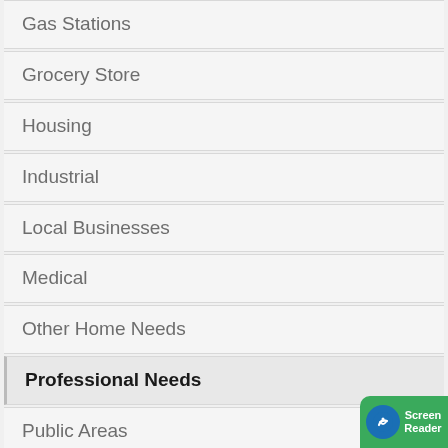Gas Stations
Grocery Store
Housing
Industrial
Local Businesses
Medical
Other Home Needs
Professional Needs
Public Areas
Realtors
Restaurants
Schools
[Figure (illustration): Screen Reader accessibility button in green rounded rectangle at bottom right corner]